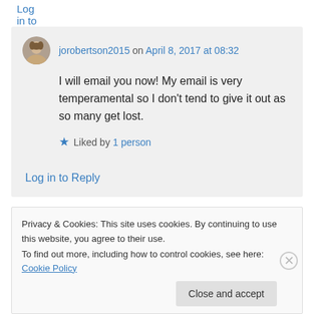Log in to Reply
jorobertson2015 on April 8, 2017 at 08:32
I will email you now! My email is very temperamental so I don't tend to give it out as so many get lost.
Liked by 1 person
Log in to Reply
Privacy & Cookies: This site uses cookies. By continuing to use this website, you agree to their use.
To find out more, including how to control cookies, see here: Cookie Policy
Close and accept